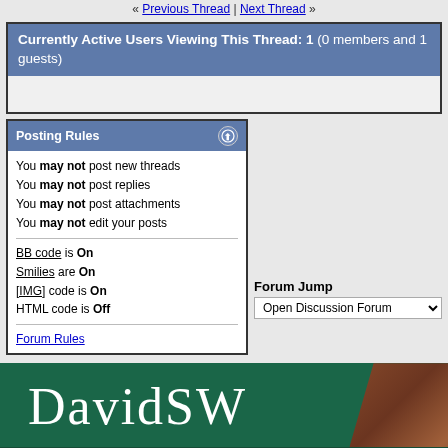« Previous Thread | Next Thread »
Currently Active Users Viewing This Thread: 1 (0 members and 1 guests)
Posting Rules
You may not post new threads
You may not post replies
You may not post attachments
You may not edit your posts
BB code is On
Smilies are On
[IMG] code is On
HTML code is Off
Forum Rules
Forum Jump
Open Discussion Forum
[Figure (logo): DavidSW banner with green background and wood texture. Text: DAVIDSW. Subtitle: Most safe, secure and efficient]